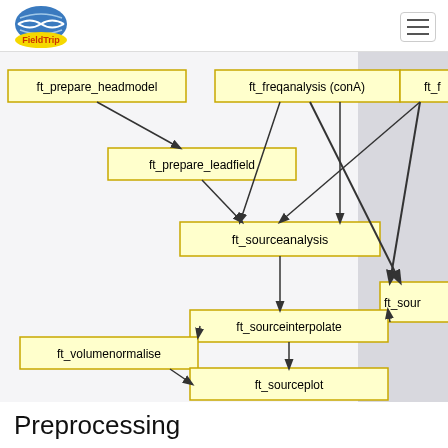[Figure (flowchart): FieldTrip logo with blue/yellow design]
[Figure (flowchart): Flowchart showing ft_prepare_headmodel -> ft_prepare_leadfield -> ft_sourceanalysis; ft_freqanalysis(conA) -> ft_sourceanalysis; ft_sourceanalysis -> ft_sourceinterpolate -> ft_sourceplot and ft_volumenormalise; ft_sour (partially visible) on right panel; arrows indicating data flow between nodes]
Preprocessing